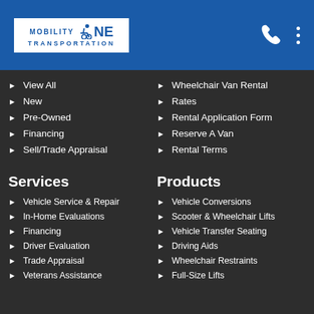[Figure (logo): Mobility One Transportation logo with wheelchair icon]
View All
New
Pre-Owned
Financing
Sell/Trade Appraisal
Wheelchair Van Rental
Rates
Rental Application Form
Reserve A Van
Rental Terms
Services
Products
Vehicle Service & Repair
In-Home Evaluations
Financing
Driver Evaluation
Trade Appraisal
Veterans Assistance
Vehicle Conversions
Scooter & Wheelchair Lifts
Vehicle Transfer Seating
Driving Aids
Wheelchair Restraints
Full-Size Lifts